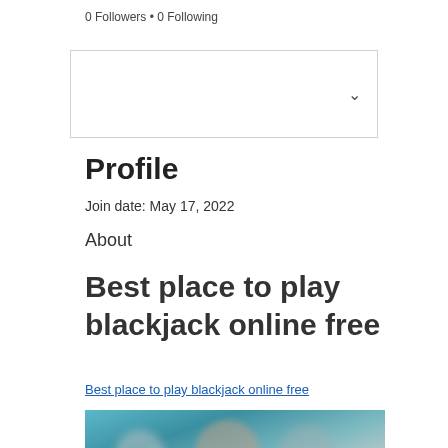0 Followers • 0 Following
[Figure (other): Dropdown/select box with chevron arrow on the right side]
Profile
Join date: May 17, 2022
About
Best place to play blackjack online free
Best place to play blackjack online free
[Figure (photo): Blurred photo of people, teal/cyan background]